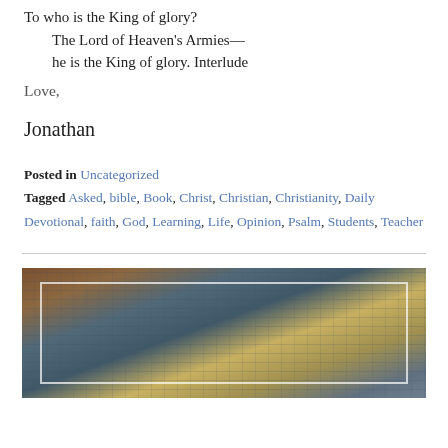To who is the King of glory?
    The Lord of Heaven's Armies—
    he is the King of glory. Interlude
Love,
Jonathan
Posted in Uncategorized
Tagged Asked, bible, Book, Christ, Christian, Christianity, Daily Devotional, faith, God, Learning, Life, Opinion, Psalm, Students, Teacher
[Figure (photo): Aerial view of a city with tall buildings and streets, seen from above, with a tree trunk visible on the left side. A white rectangular border overlays the inner portion of the image.]